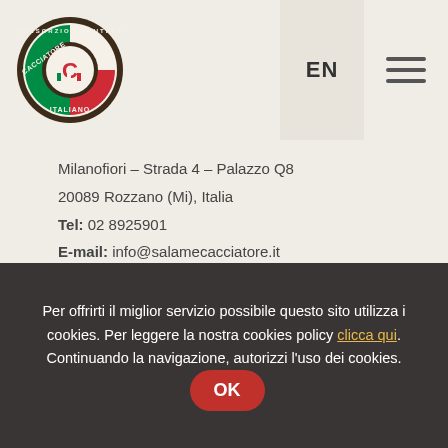[Figure (logo): Cacciatore Italiano consortium circular logo with red and green stripe design]
EN
Milanofiori – Strada 4 – Palazzo Q8
20089 Rozzano (Mi), Italia
Tel: 02 8925901
E-mail: info@salamecacciatore.it
The consortium
Per offrirti il miglior servizio possibile questo sito utilizza i cookies. Per leggere la nostra cookies policy clicca qui. Continuando la navigazione, autorizzi l'uso dei cookies. OK